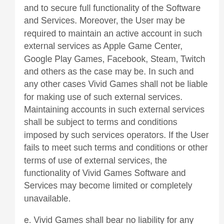and to secure full functionality of the Software and Services. Moreover, the User may be required to maintain an active account in such external services as Apple Game Center, Google Play Games, Facebook, Steam, Twitch and others as the case may be. In such and any other cases Vivid Games shall not be liable for making use of such external services. Maintaining accounts in such external services shall be subject to terms and conditions imposed by such services operators. If the User fails to meet such terms and conditions or other terms of use of external services, the functionality of Vivid Games Software and Services may become limited or completely unavailable.
e. Vivid Games shall bear no liability for any loss that the User can suffer due to an unstable Internet connection, an interruption in an Internet connection or an Internet connection with low data transfer.
f. In the event of using Vivid Games Software and Services through a mobile Internet connection, data transfer fees as well as other charges collected by the User's operator or roaming provider apply in accordance with the tariff applicable to the User. Downloading and making use of certain Vivid Games Software and Services may be subject to restrictions or bans